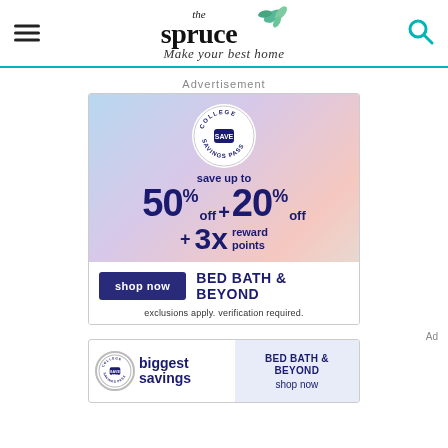[Figure (logo): The Spruce logo: hamburger menu on left, search icon on right, center has leaf illustration, 'the spruce' in bold serif, tagline 'Make your best home' in italic]
Advertisement
[Figure (infographic): Bed Bath & Beyond College Savings Pass ad: save up to 50% off + 20% off + 3x reward points, shop now button, exclusions apply, verification required.]
[Figure (infographic): Bed Bath & Beyond bottom banner: College Savings Pass badge, 'biggest savings', Bed Bath & Beyond logo, shop now]